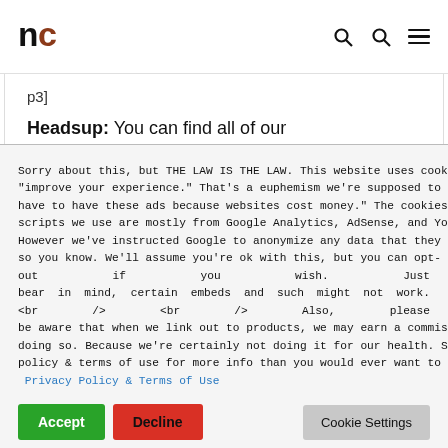nc
p3]
Headsup: You can find all of our Recommendations at our Amazon Store.
Sorry about this, but THE LAW IS THE LAW. This website uses cookies to "improve your experience." That's a euphemism we're supposed to use for "We have to have these ads because websites cost money." The cookies and/or scripts we use are mostly from Google Analytics, AdSense, and YouTube. However we've instructed Google to anonymize any data that they collect. Just so you know. We'll assume you're ok with this, but you can opt-out if you wish. Just bear in mind, certain embeds and such might not work.<br /> <br /> Also, please be aware that when we link out to products, we may earn a commission for doing so. Because we're certainly not doing it for our health. See our privacy policy & terms of use for more info than you would ever want to know. - Privacy Policy & Terms of Use